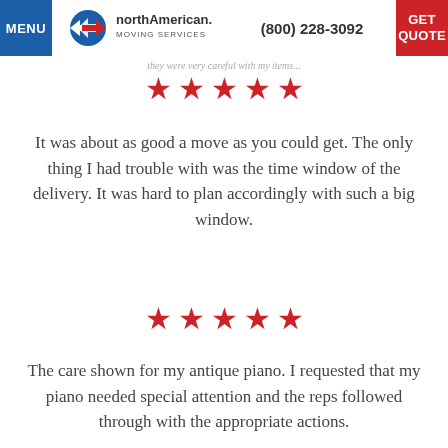MENU | northAmerican MOVING SERVICES | (800) 228-3092 | GET QUOTE
...they were very careful with my items...
[Figure (other): Five red stars rating]
It was about as good a move as you could get. The only thing I had trouble with was the time window of the delivery. It was hard to plan accordingly with such a big window.
[Figure (other): Five red stars rating]
The care shown for my antique piano. I requested that my piano needed special attention and the reps followed through with the appropriate actions.